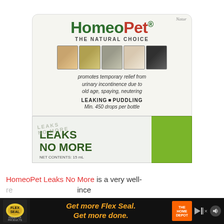[Figure (photo): HomeoPet Leaks No More product package showing the card and box. Brand name 'HomeoPet' in green and red, 'THE NATURAL CHOICE' tagline, strip of 5 animal photos (dog, bird, cat, rabbit, black dog), text promoting temporary relief from urinary incontinence, 'LEAKING • PUDDLING', 'Min. 450 drops per bottle', and box labeled 'LEAKS NO MORE' in dark green with olive/green side panel and 'NET CONTENTS: 15 mL']
HomeoPet Leaks No More is a very well-re... ince ar... mple of
[Figure (screenshot): Advertisement banner: Flex Seal family of products logo on black background with text 'Get more Flex Seal. Get more done.' in orange italic, Home Depot logo, skip arrow and mute icon]